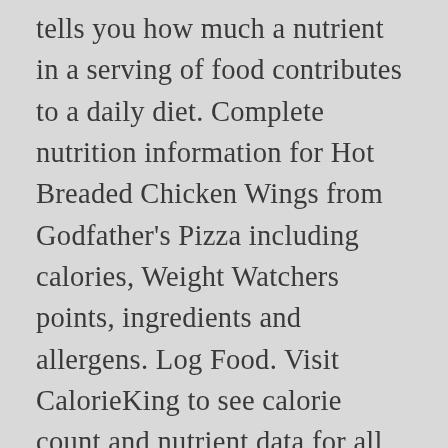tells you how much a nutrient in a serving of food contributes to a daily diet. Complete nutrition information for Hot Breaded Chicken Wings from Godfather's Pizza including calories, Weight Watchers points, ingredients and allergens. Log Food. Visit CalorieKing to see calorie count and nutrient data for all portion sizes. 14% Saturated Fat 2.9 g grams. GIANT Breaded Chicken Wings Hot & Spicy Fully Cooked (Cold) 10 ct pkg . Sign Up. Product Code: 71015. Pierce Chicken. 49 % 8g Fat. NUTRITION GUIDE BUFFALO WILD WINGS® NUTRITION GUIDE PAGE 2 OF 13 2,000 CALORIES A DAY IS USED FOR GENERAL NUTRITION ADVICE, BUT CALORIE NEEDS VARY. Eliminates food - safety issues